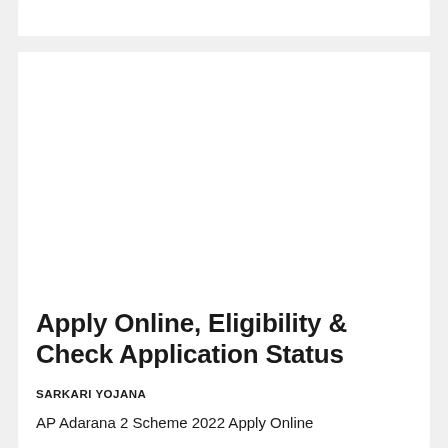Apply Online, Eligibility & Check Application Status
SARKARI YOJANA
AP Adarana 2 Scheme 2022 Apply Online